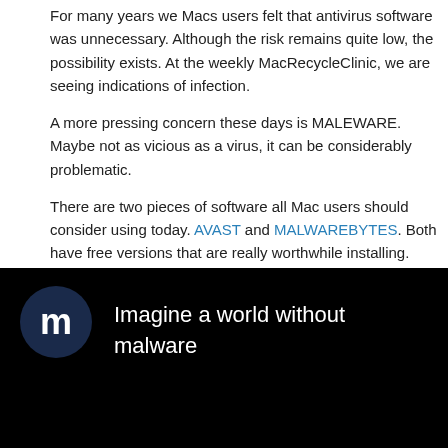For many years we Macs users felt that antivirus software was unnecessary. Although the risk remains quite low, the possibility exists. At the weekly MacRecycleClinic, we are seeing indications of infection.
A more pressing concern these days is MALEWARE. Maybe not as vicious as a virus, it can be considerably problematic.
There are two pieces of software all Mac users should consider using today. AVAST and MALWAREBYTES. Both have free versions that are really worthwhile installing.
Malwarebytes can be run within minutes and offers very reasonable protection. (See YouTube:)
[Figure (screenshot): A YouTube video thumbnail with black background showing the Malwarebytes logo (white M symbol on dark navy circle) and the text 'Imagine a world without malware' in white.]